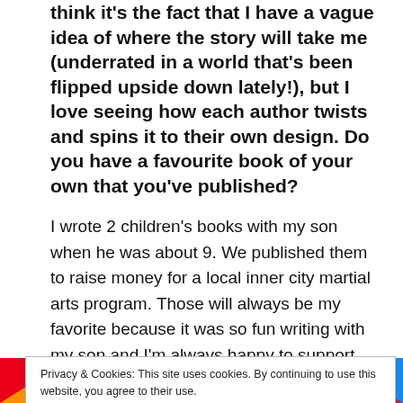think it's the fact that I have a vague idea of where the story will take me (underrated in a world that's been flipped upside down lately!), but I love seeing how each author twists and spins it to their own design. Do you have a favourite book of your own that you've published?
I wrote 2 children's books with my son when he was about 9. We published them to raise money for a local inner city martial arts program. Those will always be my favorite because it was so fun writing with my son and I'm always happy to support that martial arts program. It's a 2 book
Privacy & Cookies: This site uses cookies. By continuing to use this website, you agree to their use.
To find out more, including how to control cookies, see here: Cookie Policy
Close and accept
[Figure (photo): Colorful book cover strip at the bottom with text PENCIL and a star, and partial text on right side, on vibrant red/yellow/blue background]